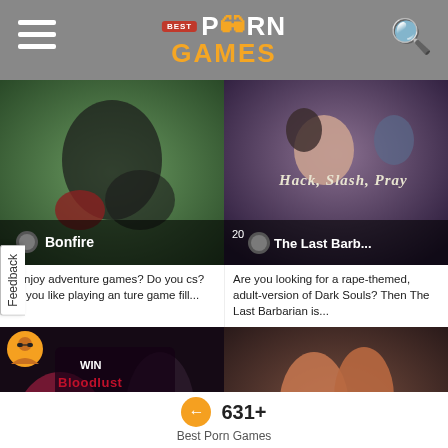Best Porn Games
[Figure (screenshot): Game thumbnail for Bonfire - dark fantasy action scene]
[Figure (screenshot): Game thumbnail for The Last Barb... - Hack, Slash, Pray scene with female characters]
u enjoy adventure games? Do you cs? Do you like playing an ture game fill...
Are you looking for a rape-themed, adult-version of Dark Souls? Then The Last Barbarian is...
[Figure (screenshot): Game thumbnail for Bloodlust Cerene - WIN Bloodlust Cerene FREE promotional image]
[Figure (screenshot): Game thumbnail - romantic scene with tattooed couple]
631+
Best Porn Games